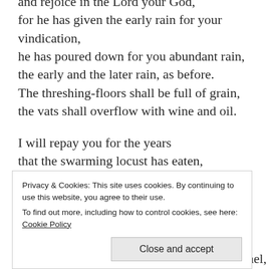and rejoice in the Lord your God,
for he has given the early rain for your vindication,
he has poured down for you abundant rain,
the early and the later rain, as before.
The threshing-floors shall be full of grain,
the vats shall overflow with wine and oil.

I will repay you for the years
that the swarming locust has eaten,
the hopper, the destroyer, and the cutter,
my great army, which I sent against you.
Privacy & Cookies: This site uses cookies. By continuing to use this website, you agree to their use.
To find out more, including how to control cookies, see here: Cookie Policy
Close and accept
You shall know that I am in the midst of Israel,